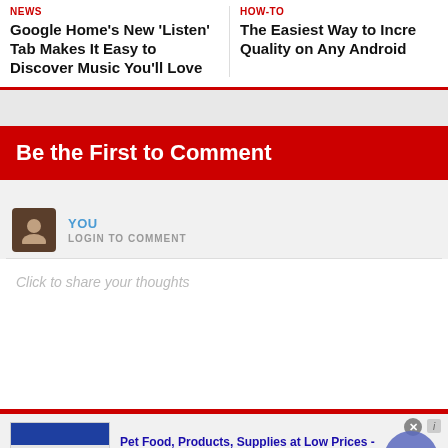NEWS
Google Home's New 'Listen' Tab Makes It Easy to Discover Music You'll Love
HOW-TO
The Easiest Way to Increase Audio Quality on Any Android
Be the First to Comment
YOU
LOGIN TO COMMENT
Click to share your thoughts
[Figure (other): Advertisement for Chewy.com: Pet Food, Products, Supplies at Low Prices. Pay the lowest prices on pet supplies at Chewy.com. chewy.com]